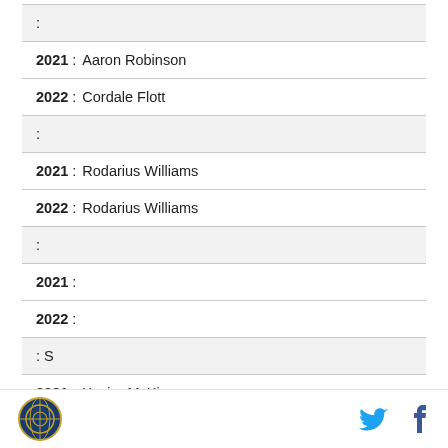:
2021 : Aaron Robinson
2022 : Cordale Flott
:
2021 : Rodarius Williams
2022 : Rodarius Williams
:
2021 :
2022 :
: S
2021 : Xavier McKinnev